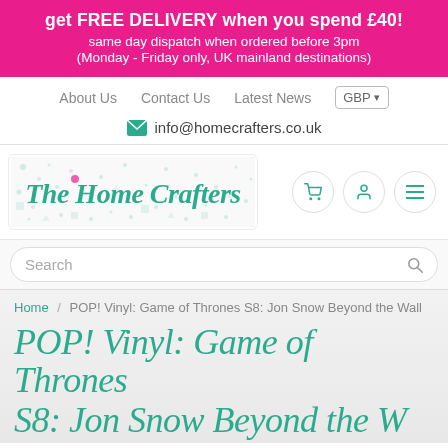get FREE DELIVERY when you spend £40! same day dispatch when ordered before 3pm (Monday - Friday only, UK mainland destinations)
About Us   Contact Us   Latest News   GBP
info@homecrafters.co.uk
[Figure (logo): The Home Crafters logo with decorative craft-themed background and script font]
Search
Home / POP! Vinyl: Game of Thrones S8: Jon Snow Beyond the Wall
POP! Vinyl: Game of Thrones S8: Jon Snow Beyond the Wall